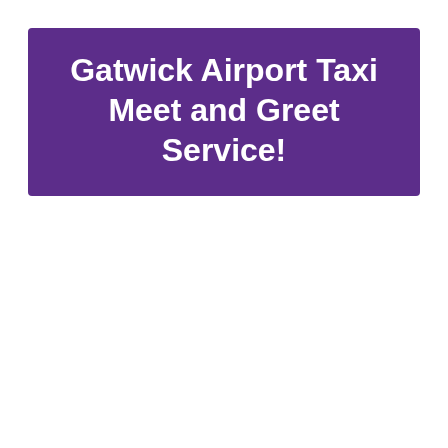Gatwick Airport Taxi Meet and Greet Service!